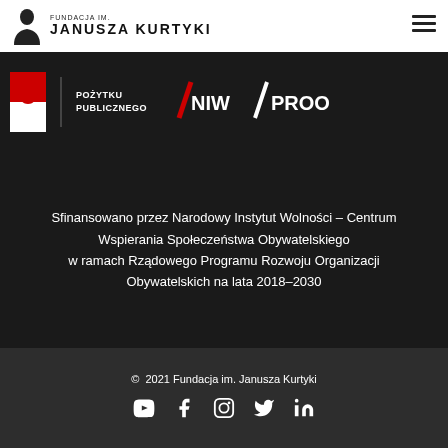FUNDACJA IM. JANUSZA KURTYKI
[Figure (logo): Logos: Pożytku Publicznego, NIW, PROO on dark background]
Sfinansowano przez Narodowy Instytut Wolności – Centrum Wspierania Społeczeństwa Obywatelskiego w ramach Rządowego Programu Rozwoju Organizacji Obywatelskich na lata 2018–2030
© 2021 Fundacja im. Janusza Kurtyki
[Figure (other): Social media icons: YouTube, Facebook, Instagram, Twitter, LinkedIn]